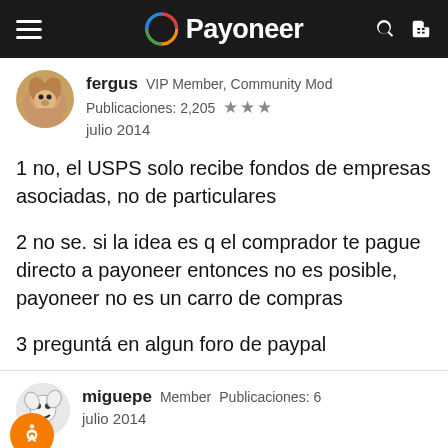Payoneer
fergus  VIP Member, Community Mod
Publicaciones: 2,205  ★★★
julio 2014
1 no, el USPS solo recibe fondos de empresas asociadas, no de particulares

2 no se. si la idea es q el comprador te pague directo a payoneer entonces no es posible, payoneer no es un carro de compras

3 preguntá en algun foro de paypal
miguepe  Member  Publicaciones: 6
julio 2014
fergus escribió on August 1 2014, 1:37 AM: »